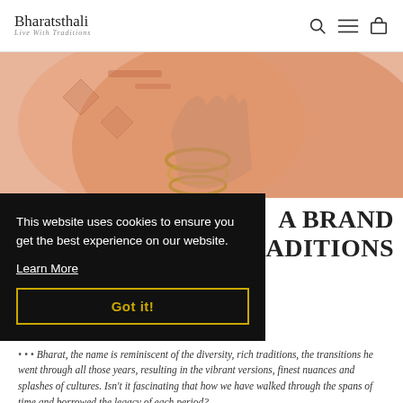Bharatsthali — Live With Traditions
[Figure (photo): Close-up of woman's hands decorated with gold bangles and mehndi, draped in an orange/peach saree with embroidery]
This website uses cookies to ensure you get the best experience on our website. Learn More Got it!
A BRAND LIVE WITH TRADITIONS
Bharat, the name is reminiscent of the diversity, rich traditions, the transitions he went through all those years, resulting in the vibrant versions, finest nuances and splashes of cultures. Isn't it fascinating that how we have walked through the spans of time and borrowed the legacy of each period?